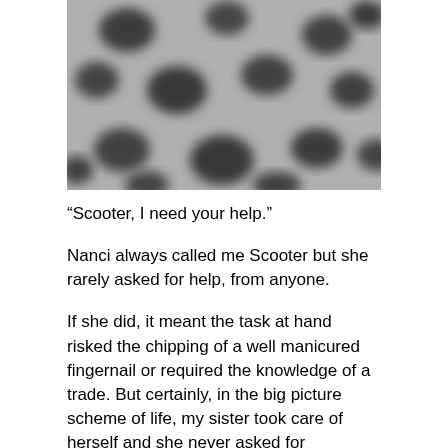[Figure (photo): Blurred black and white photograph showing rounded dark spots or stones on a light grey background, resembling pebbles or blurred organic shapes.]
“Scooter, I need your help.”
Nanci always called me Scooter but she rarely asked for help, from anyone.
If she did, it meant the task at hand risked the chipping of a well manicured fingernail or required the knowledge of a trade. But certainly, in the big picture scheme of life, my sister took care of herself and she never asked for